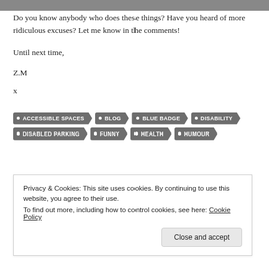[Figure (photo): Partial photo strip at top of page, cropped]
Do you know anybody who does these things? Have you heard of more ridiculous excuses? Let me know in the comments!
Until next time,
Z.M
x
ACCESSIBLE SPACES
BLOG
BLUE BADGE
DISABILITY
DISABLED PARKING
FUNNY
HEALTH
HUMOUR
Privacy & Cookies: This site uses cookies. By continuing to use this website, you agree to their use.
To find out more, including how to control cookies, see here: Cookie Policy